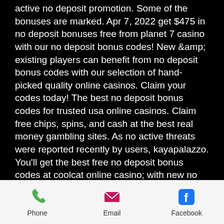active no deposit promotion. Some of the bonuses are marked. Apr 7, 2022 get $475 in no deposit bonuses free from planet 7 casino with our no deposit bonus codes! New &amp; existing players can benefit from no deposit bonus codes with our selection of hand-picked quality online casinos. Claim your codes today! The best no deposit bonus codes for trusted usa online casinos. Claim free chips, spins, and cash at the best real money gambling sites. As no active threats were reported recently by users, kayapalazzo. You'll get the best free no deposit bonus codes at coolcat online casino; with new no deposit bonuses updated regularly. Make your first deposit up to $1,000. If your first wager wins, the withdrawable money will appear in your balance. If your bet loses, your free
Phone | Email | Facebook